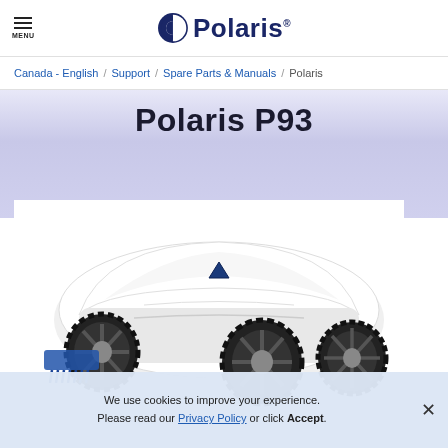MENU  Polaris
Canada - English / Support / Spare Parts & Manuals / Polaris
Polaris P93
[Figure (photo): Polaris P93 robotic pool cleaner — white body with large black rubber wheels and blue brush visible at front-left, viewed from slightly above and to the right.]
We use cookies to improve your experience. Please read our Privacy Policy or click Accept.